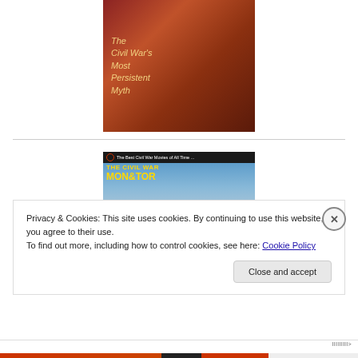[Figure (photo): Book cover showing two Civil War era soldiers with text 'The Civil War's Most Persistent Myth' in italic golden text on a red-brown background]
[Figure (photo): The Civil War Monitor magazine cover with yellow bold title text on blue-gray background, with small film reel icon and text 'The Best Civil War Movies of All Time...']
Privacy & Cookies: This site uses cookies. By continuing to use this website, you agree to their use.
To find out more, including how to control cookies, see here: Cookie Policy
Close and accept